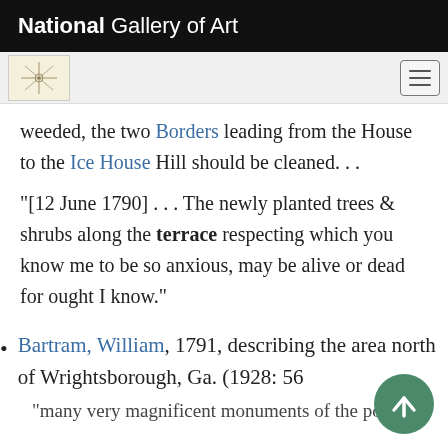National Gallery of Art
weeded, the two Borders leading from the House to the Ice House Hill should be cleaned. . .
"[12 June 1790] . . . The newly planted trees & shrubs along the terrace respecting which you know me to be so anxious, may be alive or dead for ought I know."
Bartram, William, 1791, describing the area north of Wrightsborough, Ga. (1928: 56
"many very magnificent monuments of the power